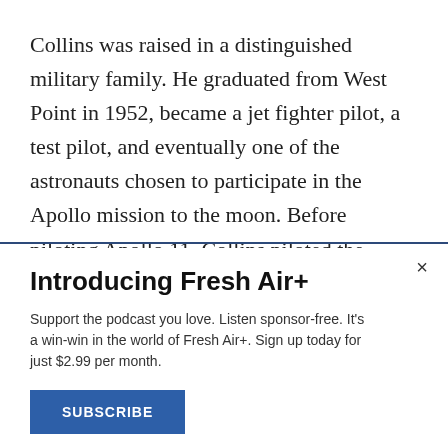Collins was raised in a distinguished military family. He graduated from West Point in 1952, became a jet fighter pilot, a test pilot, and eventually one of the astronauts chosen to participate in the Apollo mission to the moon. Before piloting Apollo 11, Collins piloted the Gemini 10 flight and walked in space, attached to his capsule only by a high-tech umbilical cord. In doing so, he was the first astronaut to walk from a spacecraft to another object in space - in this case, a
Introducing Fresh Air+
Support the podcast you love. Listen sponsor-free. It's a win-win in the world of Fresh Air+. Sign up today for just $2.99 per month.